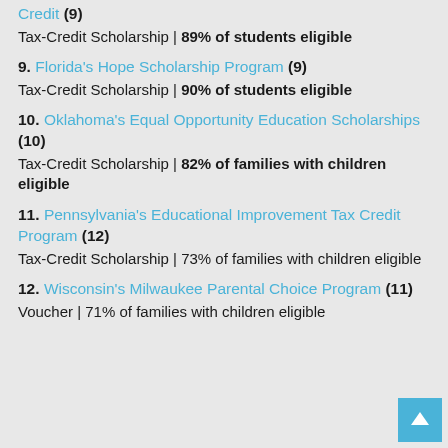Credit (9)
Tax-Credit Scholarship | 89% of students eligible
9. Florida's Hope Scholarship Program (9)
Tax-Credit Scholarship | 90% of students eligible
10. Oklahoma's Equal Opportunity Education Scholarships (10)
Tax-Credit Scholarship | 82% of families with children eligible
11. Pennsylvania's Educational Improvement Tax Credit Program (12)
Tax-Credit Scholarship | 73% of families with children eligible
12. Wisconsin's Milwaukee Parental Choice Program (11)
Voucher | 71% of families with children eligible